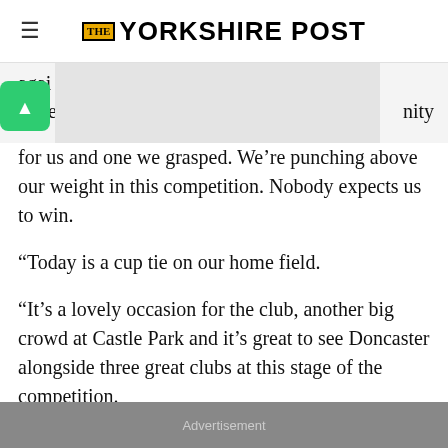THE YORKSHIRE POST
again under nity for us and one we grasped. We’re punching above our weight in this competition. Nobody expects us to win.

“Today is a cup tie on our home field.

“It’s a lovely occasion for the club, another big crowd at Castle Park and it’s great to see Doncaster alongside three great clubs at this stage of the competition.
Advertisement